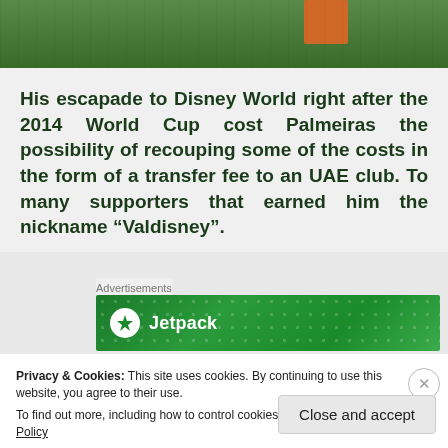[Figure (photo): Partial view of soccer/football players on a green grass field, with one player in orange and others in green uniforms.]
His escapade to Disney World right after the 2014 World Cup cost Palmeiras the possibility of recouping some of the costs in the form of a transfer fee to an UAE club. To many supporters that earned him the nickname “Valdisney”.
Advertisements
[Figure (logo): Jetpack advertisement banner with logo on green background with dot pattern.]
Privacy & Cookies: This site uses cookies. By continuing to use this website, you agree to their use.
To find out more, including how to control cookies, see here: Cookie Policy
Close and accept